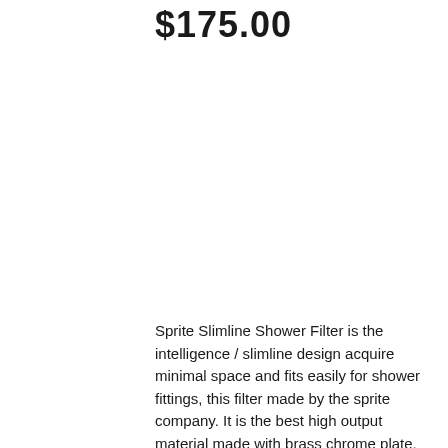$175.00
Sprite Slimline Shower Filter is the intelligence / slimline design acquire minimal space and fits easily for shower fittings, this filter made by the sprite company. It is the best high output material made with brass chrome plate.